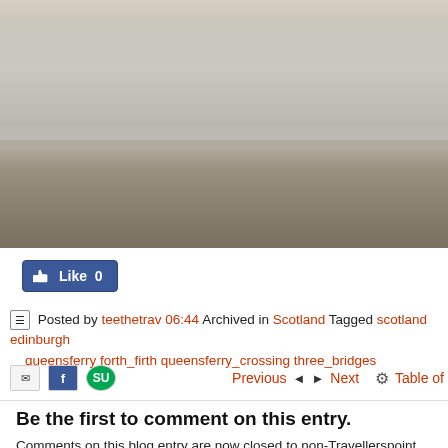[Figure (photo): Coastal rocky shoreline with grey water and overcast sky, showing rugged rocks and water in the foreground]
[Figure (other): Facebook Like button showing 0 likes]
Posted by teethetrav 06:44 Archived in Scotland Tagged scotland edinburgh queensferry forth_firth queensferry_crossing three_bridges
Email, Facebook, StumbleUpon social sharing icons. Previous ◄ ► Next and Table of contents navigation
Be the first to comment on this entry.
Comments on this blog entry are now closed to non-Travellerspoint members. You can still leave a comment if you are a member of Travellerspoint.
Login